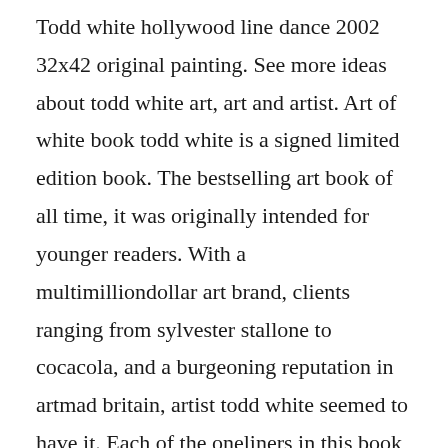Todd white hollywood line dance 2002 32x42 original painting. See more ideas about todd white art, art and artist. Art of white book todd white is a signed limited edition book. The bestselling art book of all time, it was originally intended for younger readers. With a multimilliondollar art brand, clients ranging from sylvester stallone to cocacola, and a burgeoning reputation in artmad britain, artist todd white seemed to have it. Each of the oneliners in this book has been derived from this research and paired together with original artwork created over the past 17 years.